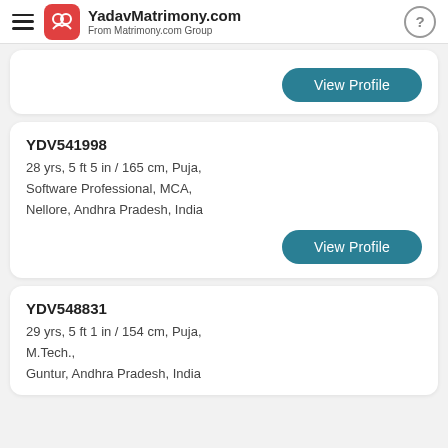YadavMatrimony.com From Matrimony.com Group
YDV541998
28 yrs, 5 ft 5 in / 165 cm, Puja,
Software Professional, MCA,
Nellore, Andhra Pradesh, India
View Profile
YDV548831
29 yrs, 5 ft 1 in / 154 cm, Puja,
M.Tech.,
Guntur, Andhra Pradesh, India